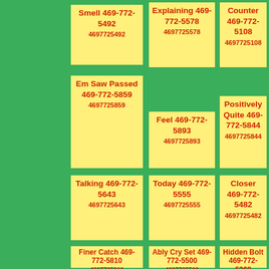Smell 469-772-5492 4697725492
Explaining 469-772-5578 4697725578
Counter 469-772-5108 4697725108
Em Saw Passed 469-772-5859 4697725859
Feel 469-772-5893 4697725893
Positively Quite 469-772-5844 4697725844
Talking 469-772-5643 4697725643
Today 469-772-5555 4697725555
Closer 469-772-5482 4697725482
Finer Catch 469-772-5810 4697725810
Ably Cry Set 469-772-5500 4697725500
Hidden Bolt 469-772-5368 4697725368